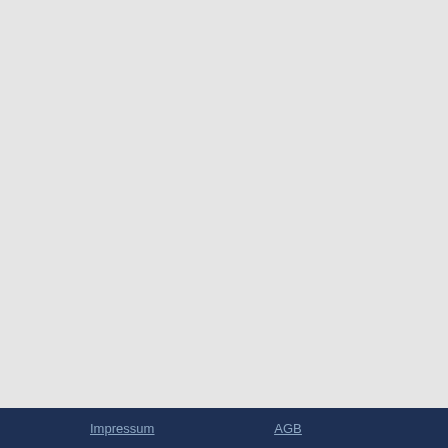84045
Joola čistiaca hubka
OK
84050
Joola čistiaci set
OK
-
Impressum   AGB